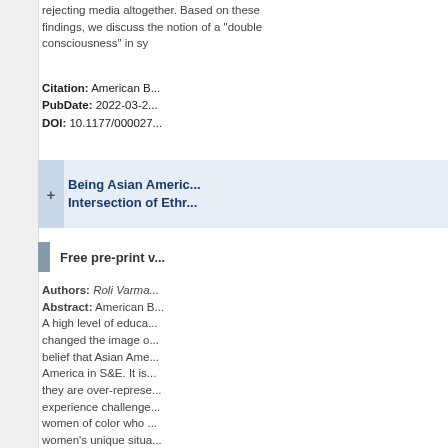rejecting media altogether. Based on these findings, we discuss the notion of a "double consciousness" in sy...
Citation: American B...
PubDate: 2022-03-2...
DOI: 10.1177/000027...
Being Asian Americ... Intersection of Ethr...
Free pre-print v...
Authors: Roli Varma...
Abstract: American B... A high level of educa... changed the image o... belief that Asian Ame... America in S&E. It is... they are over-represe... experience challenge... women of color who... women's unique situa... most of them are em...
Citation: American B...
PubDate: 2022-03-2...
DOI: 10.1177/000027...
Bakhtin's Carnivale... Demonstrations of ...
Free pre-print v...